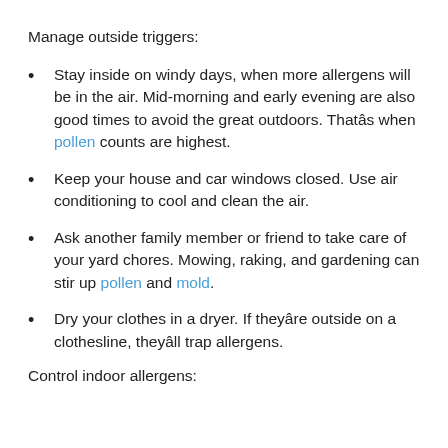Manage outside triggers:
Stay inside on windy days, when more allergens will be in the air. Mid-morning and early evening are also good times to avoid the great outdoors. Thatâs when pollen counts are highest.
Keep your house and car windows closed. Use air conditioning to cool and clean the air.
Ask another family member or friend to take care of your yard chores. Mowing, raking, and gardening can stir up pollen and mold.
Dry your clothes in a dryer. If theyâre outside on a clothesline, theyâll trap allergens.
Control indoor allergens: